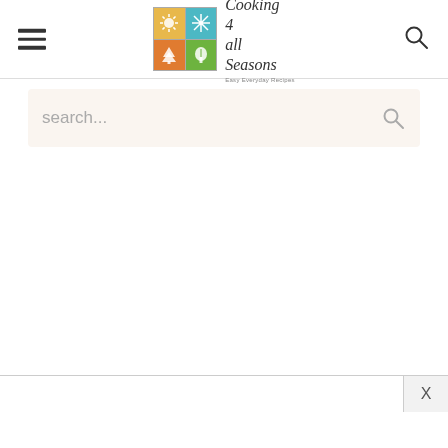Cooking 4 all Seasons — Easy Everyday Recipes
search...
X